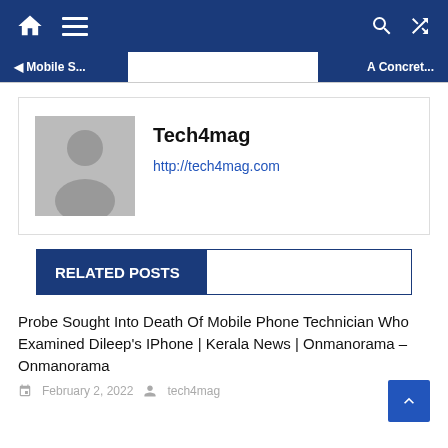Mobile S... | A Concret...
[Figure (illustration): Author avatar placeholder with grey silhouette figure]
Tech4mag
http://tech4mag.com
RELATED POSTS
Probe Sought Into Death Of Mobile Phone Technician Who Examined Dileep's IPhone | Kerala News | Onmanorama – Onmanorama
February 2, 2022   tech4mag